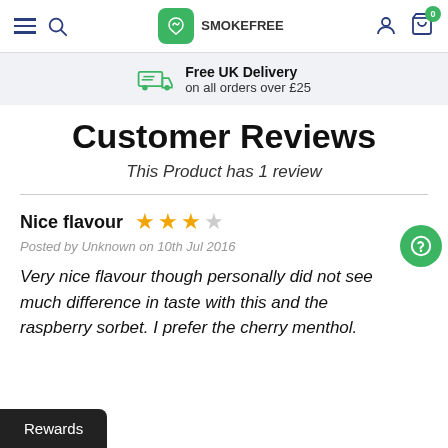Smoke Free – Free UK Delivery on all orders over £25
Customer Reviews
This Product has 1 review
Nice flavour ★★★☆☆
Posted by Unknown on 10th Jul 2016
Very nice flavour though personally did not see much difference in taste with this and the raspberry sorbet. I prefer the cherry menthol.
Rewards